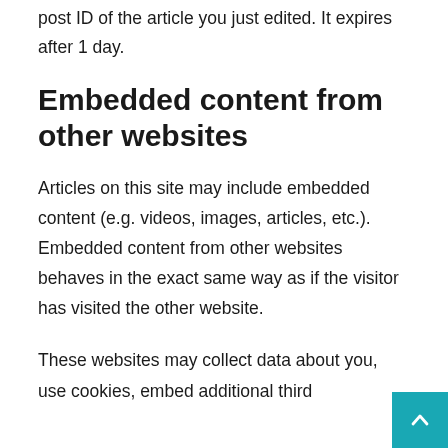post ID of the article you just edited. It expires after 1 day.
Embedded content from other websites
Articles on this site may include embedded content (e.g. videos, images, articles, etc.). Embedded content from other websites behaves in the exact same way as if the visitor has visited the other website.
These websites may collect data about you, use cookies, embed additional third